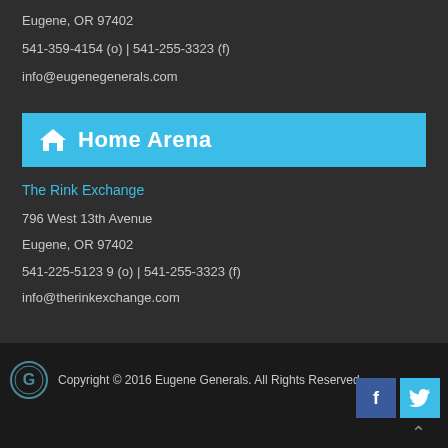Eugene, OR 97402
541-359-4154 (o) | 541-255-3323 (f)
info@eugenegenerals.com
Home Arena
The Rink Exchange
796 West 13th Avenue
Eugene, OR 97402
541-225-5123 9 (o) | 541-255-3323 (f)
info@therinkexchange.com
Copyright © 2016 Eugene Generals. All Rights Reserved.